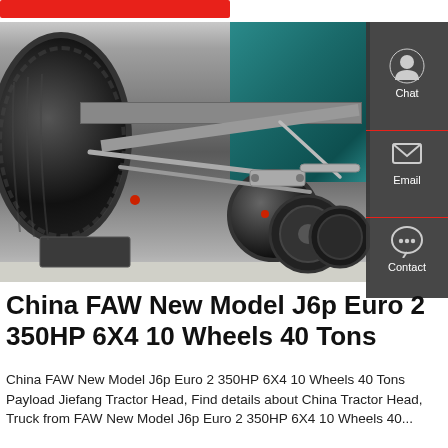[Figure (photo): Undercarriage view of a FAW J6p heavy truck showing large tires, chassis frame, suspension components, and teal/green engine block visible in background]
China FAW New Model J6p Euro 2 350HP 6X4 10 Wheels 40 Tons
China FAW New Model J6p Euro 2 350HP 6X4 10 Wheels 40 Tons Payload Jiefang Tractor Head, Find details about China Tractor Head, Truck from FAW New Model J6p Euro 2 350HP 6X4 10 Wheels 40...